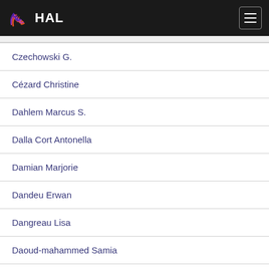HAL
| Czechowski G. |
| Cézard Christine |
| Dahlem Marcus S. |
| Dalla Cort Antonella |
| Damian Marjorie |
| Dandeu Erwan |
| Dangreau Lisa |
| Daoud-mahammed Samia |
| David Ghislain |
| Davidson Anne |